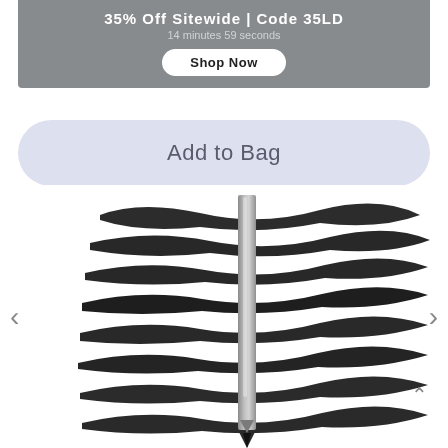35% Off Sitewide | Code 35LD
14 minutes 59 seconds
Shop Now
Add to Bag
Best Seller
[Figure (photo): A gray eyeliner pencil shown vertically with multiple horizontal black zigzag swatches drawn across a white background, demonstrating the pencil's pigmentation.]